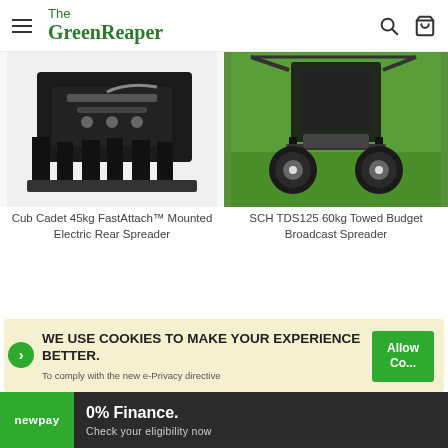The GreenReaper
[Figure (photo): Cub Cadet 45kg FastAttach mounted electric rear spreader mechanism, close-up of black metal attachment]
[Figure (photo): SCH TDS125 60kg Towed Budget Broadcast Spreader on green grass, showing wheels and spreader mechanism]
Cub Cadet 45kg FastAttach™ Mounted Electric Rear Spreader
SCH TDS125 60kg Towed Budget Broadcast Spreader
WE USE COOKIES TO MAKE YOUR EXPERIENCE BETTER. To comply with the new e-Privacy directive
0% Finance. Check your eligibility now